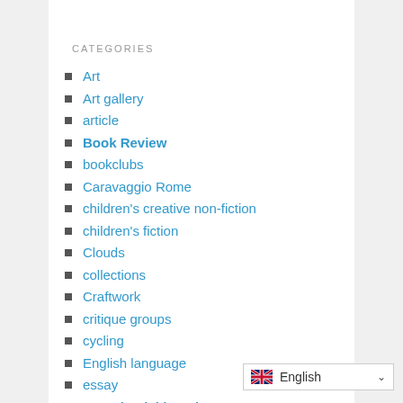CATEGORIES
Art
Art gallery
article
Book Review
bookclubs
Caravaggio Rome
children's creative non-fiction
children's fiction
Clouds
collections
Craftwork
critique groups
cycling
English language
essay
Experiential learning
Facial recognition
family